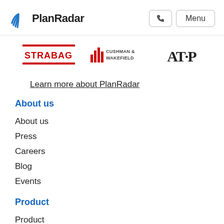PlanRadar [logo] | [phone button] | Menu
[Figure (logo): STRABAG logo]
[Figure (logo): Cushman & Wakefield logo]
[Figure (logo): AFP logo]
Learn more about PlanRadar
About us
About us
Press
Careers
Blog
Events
Product
Product
Pricing